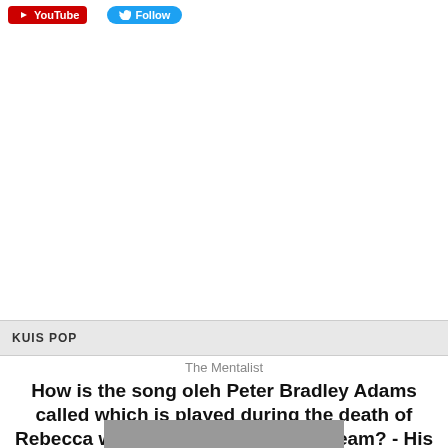[Figure (logo): YouTube button (red) and Twitter Follow button (blue) in top bar]
KUIS POP
The Mentalist
How is the song oleh Peter Bradley Adams called which is played during the death of Rebecca who killed Bosco and his team? - His Red Right Hand (2x08)
[Figure (photo): Partial photo of a person at the bottom of the page]